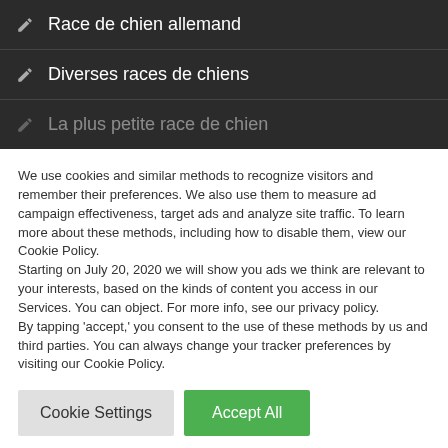Race de chien allemand
Diverses races de chiens
La plus petite race de chien
We use cookies and similar methods to recognize visitors and remember their preferences. We also use them to measure ad campaign effectiveness, target ads and analyze site traffic. To learn more about these methods, including how to disable them, view our Cookie Policy.
Starting on July 20, 2020 we will show you ads we think are relevant to your interests, based on the kinds of content you access in our Services. You can object. For more info, see our privacy policy.
By tapping 'accept,' you consent to the use of these methods by us and third parties. You can always change your tracker preferences by visiting our Cookie Policy.
Cookie Settings
Accept All